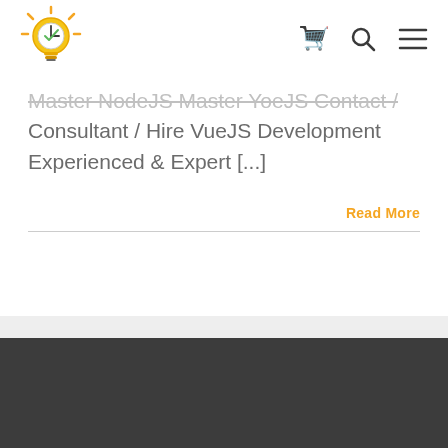[Figure (logo): Yellow lightbulb with clock face logo icon]
[Figure (other): Navigation icons: shopping cart, search magnifier, hamburger menu]
Master NodeJS Master YoeJS Contact / Consultant / Hire VueJS Development Experienced & Expert [...]
Read More
[Figure (other): Light gray horizontal band]
[Figure (other): Dark gray footer bar]